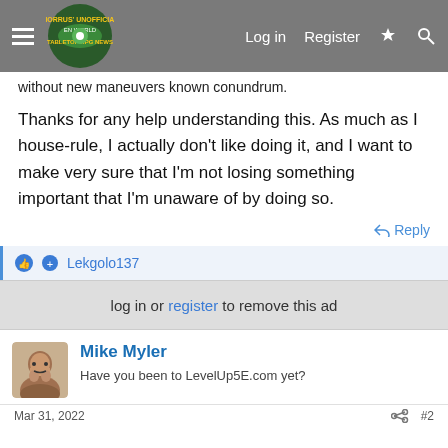Morrus' Unofficial Tabletop RPG News — Log in | Register
without new maneuvers known conundrum.
Thanks for any help understanding this. As much as I house-rule, I actually don't like doing it, and I want to make very sure that I'm not losing something important that I'm unaware of by doing so.
Reply
Lekgolo137
log in or register to remove this ad
Mike Myler
Have you been to LevelUp5E.com yet?
Mar 31, 2022
#2